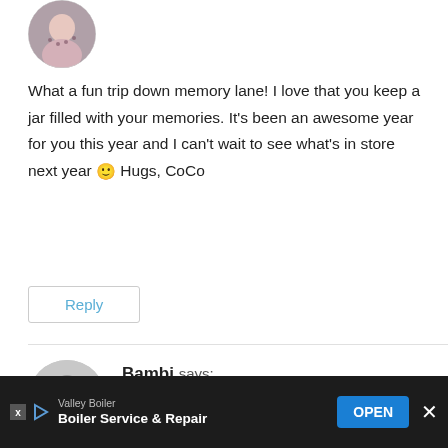[Figure (photo): Circular avatar photo of a person in patterned clothing, cropped to circle]
What a fun trip down memory lane! I love that you keep a jar filled with your memories. It's been an awesome year for you this year and I can't wait to see what's in store next year 🙂 Hugs, CoCo
Reply
Bambi says:
at
I absolutely LOVE this idea. Our lives are so busy and
[Figure (screenshot): Advertisement banner: Valley Boiler - Boiler Service & Repair with OPEN button]